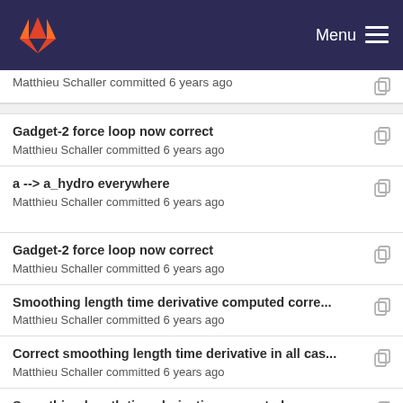GitLab — Menu
Matthieu Schaller committed 6 years ago
Gadget-2 force loop now correct
Matthieu Schaller committed 6 years ago
a --> a_hydro everywhere
Matthieu Schaller committed 6 years ago
Gadget-2 force loop now correct
Matthieu Schaller committed 6 years ago
Smoothing length time derivative computed corre...
Matthieu Schaller committed 6 years ago
Correct smoothing length time derivative in all cas...
Matthieu Schaller committed 6 years ago
Smoothing length time derivative computed corre...
Matthieu Schaller committed 6 years ago